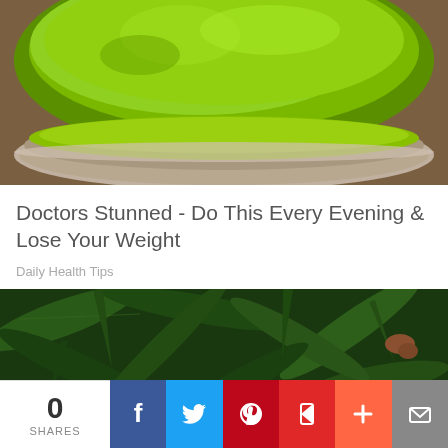[Figure (photo): Close-up photo of bright green matcha powder in a silver tin/bowl, top portion of bowl visible on wooden background]
Doctors Stunned - Do This Every Evening & Lose Your Weight
Daily Health Tips
[Figure (photo): Photo of green tea leaves surrounding a ceramic bowl of brewed tea]
0 SHARES
Facebook share button, Twitter share button, Pinterest share button, Flipboard share button, Plus share button, Email share button